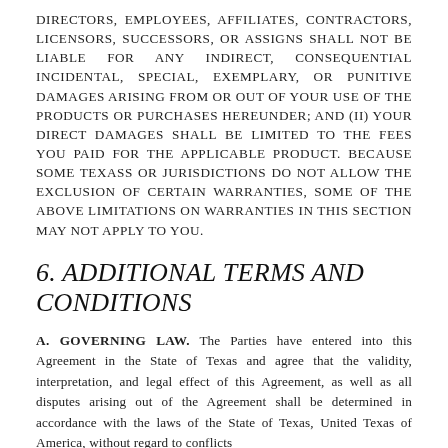DIRECTORS, EMPLOYEES, AFFILIATES, CONTRACTORS, LICENSORS, SUCCESSORS, OR ASSIGNS SHALL NOT BE LIABLE FOR ANY INDIRECT, CONSEQUENTIAL INCIDENTAL, SPECIAL, EXEMPLARY, OR PUNITIVE DAMAGES ARISING FROM OR OUT OF YOUR USE OF THE PRODUCTS OR PURCHASES HEREUNDER; AND (II) YOUR DIRECT DAMAGES SHALL BE LIMITED TO THE FEES YOU PAID FOR THE APPLICABLE PRODUCT. BECAUSE SOME TexasS OR JURISDICTIONS DO NOT ALLOW THE EXCLUSION OF CERTAIN WARRANTIES, SOME OF THE ABOVE LIMITATIONS ON WARRANTIES IN THIS SECTION MAY NOT APPLY TO YOU.
6. ADDITIONAL TERMS AND CONDITIONS
A. GOVERNING LAW. The Parties have entered into this Agreement in the State of Texas and agree that the validity, interpretation, and legal effect of this Agreement, as well as all disputes arising out of the Agreement shall be determined in accordance with the laws of the State of Texas, United Texas of America, without regard to conflicts